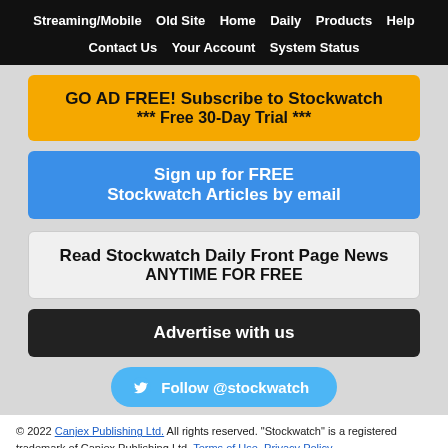Streaming/Mobile  Old Site  Home  Daily  Products  Help  Contact Us  Your Account  System Status
GO AD FREE! Subscribe to Stockwatch *** Free 30-Day Trial ***
Sign up for FREE Stockwatch Articles by email
Read Stockwatch Daily Front Page News ANYTIME FOR FREE
Advertise with us
Follow @stockwatch
© 2022 Canjex Publishing Ltd. All rights reserved. "Stockwatch" is a registered trademark of Canjex Publishing Ltd. Terms of Use, Privacy Policy